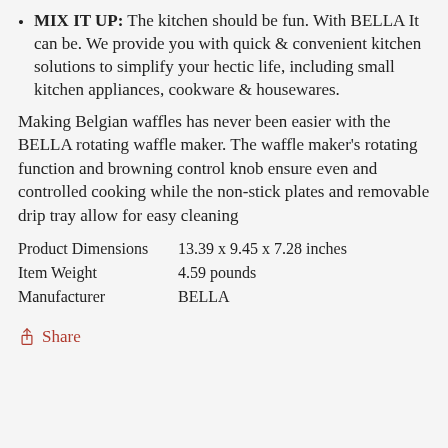MIX IT UP: The kitchen should be fun. With BELLA It can be. We provide you with quick & convenient kitchen solutions to simplify your hectic life, including small kitchen appliances, cookware & housewares.
Making Belgian waffles has never been easier with the BELLA rotating waffle maker. The waffle maker's rotating function and browning control knob ensure even and controlled cooking while the non-stick plates and removable drip tray allow for easy cleaning
| Product Dimensions | 13.39 x 9.45 x 7.28 inches |
| Item Weight | 4.59 pounds |
| Manufacturer | BELLA |
Share